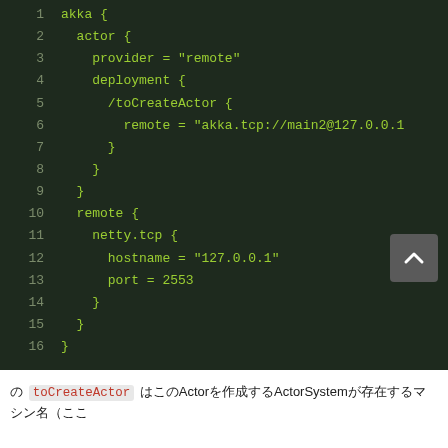[Figure (screenshot): Code block showing Akka configuration in HOCON format with syntax highlighting. Dark background with green text. Lines 1-16 showing akka actor provider remote deployment and netty.tcp settings.]
の toCreateActor はこのActorを作成するActorSystemが存在するマシン名（ここ